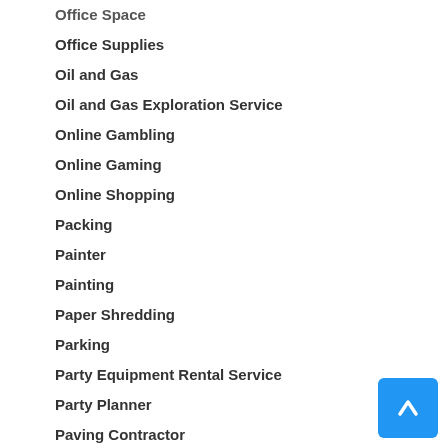Office Space
Office Supplies
Oil and Gas
Oil and Gas Exploration Service
Online Gambling
Online Gaming
Online Shopping
Packing
Painter
Painting
Paper Shredding
Parking
Party Equipment Rental Service
Party Planner
Paving Contractor
Personal Defense
Personal Injury Lawyers